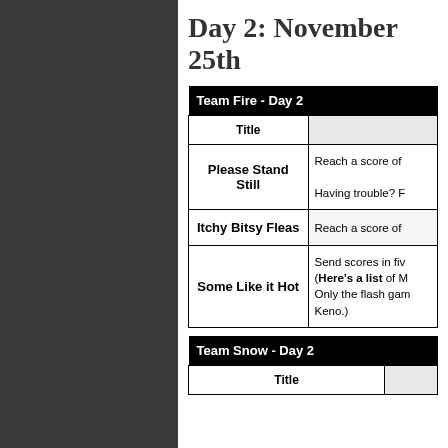Day 2: November 25th
| Team Fire - Day 2 |  |
| --- | --- |
| Title |  |
| Please Stand Still | Reach a score of ...
Having trouble? F... |
| Itchy Bitsy Fleas | Reach a score of ... |
| Some Like it Hot | Send scores in fiv... (Here's a list of M... Only the flash gam... Keno.) |
| Team Snow - Day 2 |  |
| --- | --- |
| Title |  |